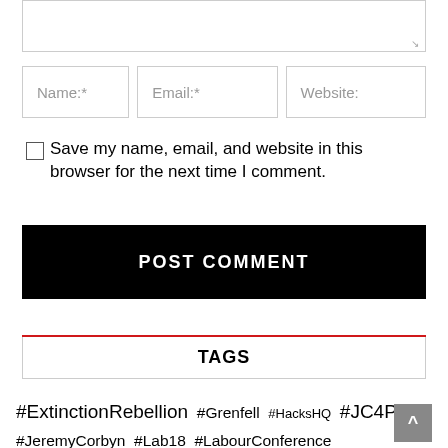[textarea input box]
Name:*  Email:*  Website:
Save my name, email, and website in this browser for the next time I comment.
POST COMMENT
TAGS
#ExtinctionRebellion #Grenfell #HacksHQ #JC4PM #JeremyCorbyn #Lab18 #LabourConference #LabourConference2018 #LabourParty #PMQs